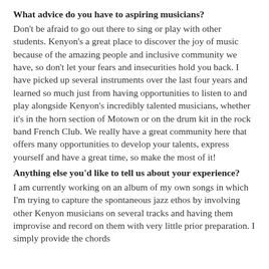What advice do you have to aspiring musicians?
Don't be afraid to go out there to sing or play with other students. Kenyon's a great place to discover the joy of music because of the amazing people and inclusive community we have, so don't let your fears and insecurities hold you back. I have picked up several instruments over the last four years and learned so much just from having opportunities to listen to and play alongside Kenyon's incredibly talented musicians, whether it's in the horn section of Motown or on the drum kit in the rock band French Club. We really have a great community here that offers many opportunities to develop your talents, express yourself and have a great time, so make the most of it!
Anything else you'd like to tell us about your experience?
I am currently working on an album of my own songs in which I'm trying to capture the spontaneous jazz ethos by involving other Kenyon musicians on several tracks and having them improvise and record on them with very little prior preparation. I simply provide the chords